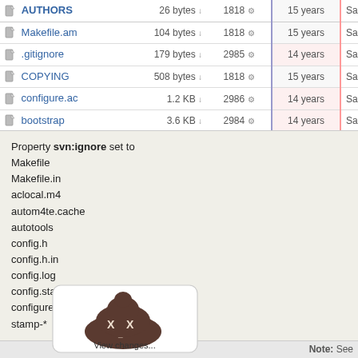| Name | Size | Rev | Age | Author | Log |
| --- | --- | --- | --- | --- | --- |
| AUTHORS | 26 bytes | 1818 | 15 years | Sam Hocevar | * F |
| Makefile.am | 104 bytes | 1818 | 15 years | Sam Hocevar | * P |
| .gitignore | 179 bytes | 2985 | 14 years | Sam Hocevar | * A |
| COPYING | 508 bytes | 1818 | 15 years | Sam Hocevar | * F |
| configure.ac | 1.2 KB | 2986 | 14 years | Sam Hocevar | Po |
| bootstrap | 3.6 KB | 2984 | 14 years | Sam Hocevar | * U |
Property svn:ignore set to
Makefile
Makefile.in
aclocal.m4
autom4te.cache
autotools
config.h
config.h.in
config.log
config.status
configure
stamp-*
[Figure (screenshot): Screenshot thumbnail showing a cartoon poop emoji with X eyes and a dash mouth, with text 'View changes...' below it on a white rounded rectangle card.]
Note: See